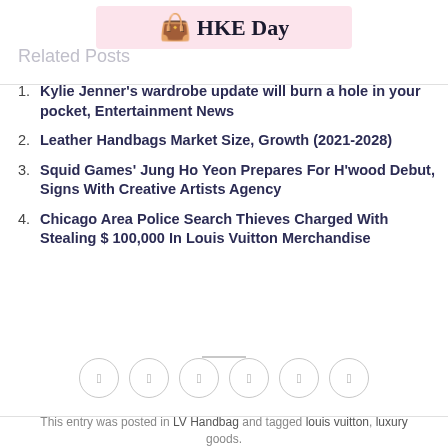HKE Day
Related Posts
Kylie Jenner’s wardrobe update will burn a hole in your pocket, Entertainment News
Leather Handbags Market Size, Growth (2021-2028)
Squid Games’ Jung Ho Yeon Prepares For H’wood Debut, Signs With Creative Artists Agency
Chicago Area Police Search Thieves Charged With Stealing $ 100,000 In Louis Vuitton Merchandise
This entry was posted in LV Handbag and tagged louis vuitton, luxury goods.